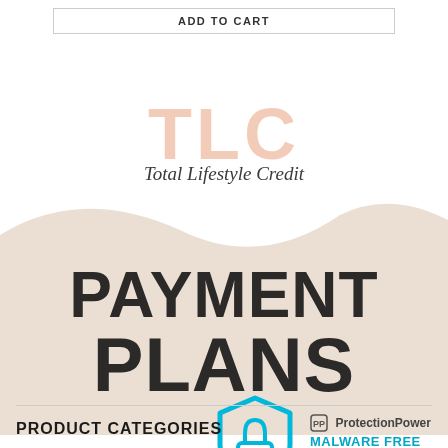ADD TO CART
[Figure (logo): TLC Total Lifestyle Credit logo with large peach/salmon colored TLC letters and cursive script underneath reading 'Total Lifestyle Credit', displayed above a beige wave background with 'PAYMENT PLANS' in large bold dark text, and a ProtectionPower Malware Free shield badge in the lower right]
PRODUCT CATEGORIES